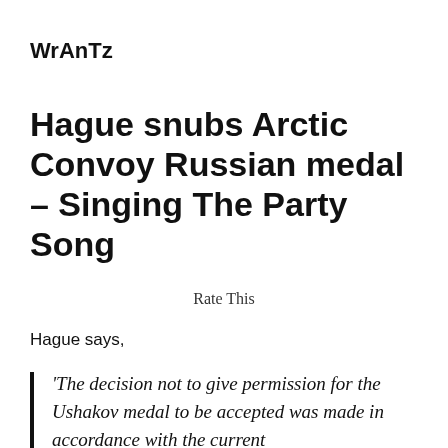WrAnTz
Hague snubs Arctic Convoy Russian medal – Singing The Party Song
Rate This
Hague says,
'The decision not to give permission for the Ushakov medal to be accepted was made in accordance with the current